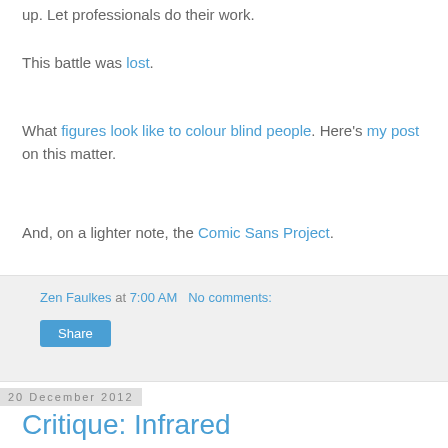up. Let professionals do their work.
This battle was lost.
What figures look like to colour blind people. Here's my post on this matter.
And, on a lighter note, the Comic Sans Project.
Zen Faulkes at 7:00 AM   No comments:
Share
20 December 2012
Critique: Infrared
Today's poster was submitted by Jessica Moore, who is manager of Center of Excellence in Nanomedicine at the University of California, San Diego.